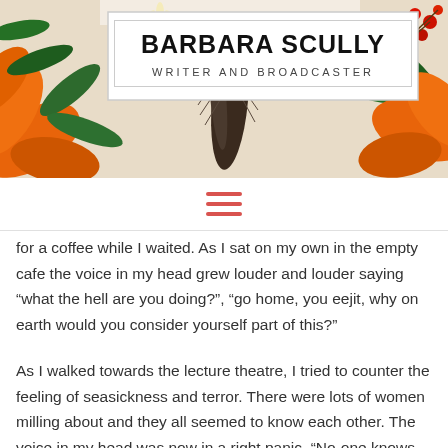[Figure (illustration): Floral header banner with orange lilies, yellow daisies, green leaves, red berries, and dark feathers as decorative background behind the site title box]
BARBARA SCULLY
WRITER AND BROADCASTER
[Figure (other): Navigation hamburger menu icon (three horizontal orange/red lines)]
for a coffee while I waited.  As I sat on my own in the empty cafe the voice in my head grew louder and louder saying “what the hell are you doing?”, “go home, you eejit, why on earth would you consider yourself part of this?”
As I walked towards the lecture theatre, I tried to counter the feeling of seasickness and terror.  There were lots of women milling about and they all seemed to know each other.  The voice in my head was now in a right panic.  “No-one knows you – turn around and leave before you make a show of